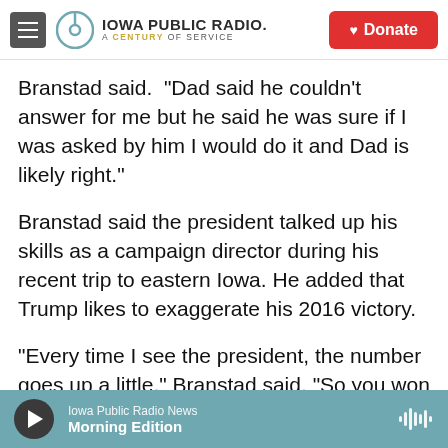Iowa Public Radio. A Century of Service | Donate
Branstad said.  “Dad said he couldn’t answer for me but he said he was sure if I was asked by him I would do it and Dad is likely right.”
Branstad said the president talked up his skills as a campaign director during his recent trip to eastern Iowa. He added that Trump likes to exaggerate his 2016 victory.
“Every time I see the president, the number goes up a little,” Branstad said. “So you won Iowa by 10  and then the last time I saw him we won Iowa by 11.”
“I don’t correct him,” Branstad added. “I just have to
Iowa Public Radio News | Morning Edition